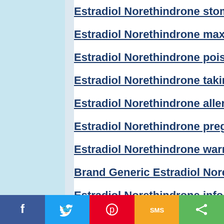Estradiol Norethindrone stomach
Estradiol Norethindrone maximum
Estradiol Norethindrone poisoning
Estradiol Norethindrone taking da
Estradiol Norethindrone allergy
Estradiol Norethindrone pregnancy
Estradiol Norethindrone warnings
Brand Generic Estradiol Norethin
Estradiol Norethindrone info